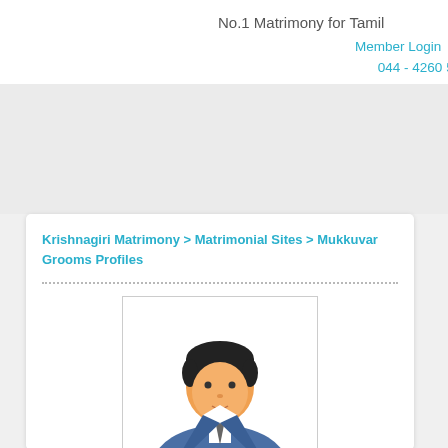No.1 Matrimony for Tamil
Member Login
044 - 4260 5260
Krishnagiri Matrimony > Matrimonial Sites > Mukkuvar Grooms Profiles
[Figure (illustration): Generic male profile avatar/placeholder image showing a cartoon man in a suit with dark hair and orange/tan skin tone, inside a bordered rectangle.]